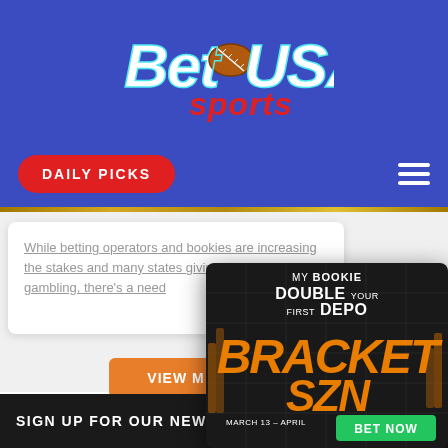[Figure (logo): BetUSA Sports logo with football icon, blue and white text with red 'sports' word]
DAILY PICKS
While betting operators and bookies are increasing the stakes and many states giving legitimacy to gambling, there's a need
| READ M
VIEW M
[Figure (screenshot): MyBookie promotion popup: 'MY BOOKIE - DOUBLE YOUR FIRST DEPO - BRACKET SZN - MARCH 13 - APRIL - BET NOW' with green button, dark background with orange bracket graphics]
SIGN UP FOR OUR NEWSLETT